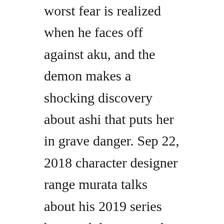worst fear is realized when he faces off against aku, and the demon makes a shocking discovery about ashi that puts her in grave danger. Sep 22, 2018 character designer range murata talks about his 2019 series bem and the pros and cons of designing characters for 3d anime. Sword art online ii gun gale online sinon simon is so bad assss. Sword art online streaming online watch on crunchyroll. Watch all seasons and episodes of sword art online and enter a future virtual.
The series aired on tv tokyo from july 4 to december 26, 2005, totaling 26 episodes. He